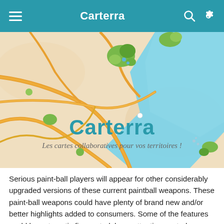Carterra
[Figure (map): A colorful street/terrain map showing roads (orange/yellow lines), water body (blue area), green parks/trees, and beige/tan land. The city name 'Carterra' appears prominently in teal bold text, with italic subtitle 'Les cartes collaboratives pour vos territoires!' below it.]
Serious paint-ball players will appear for other considerably upgraded versions of these current paintball weapons. These paint-ball weapons could have plenty of brand new and/or better highlights added to consumers. Some of the features could be automatic fire control, laser attention control furthermore electronic intending.They are still best for different groups who would like to manakin all warlike environment of